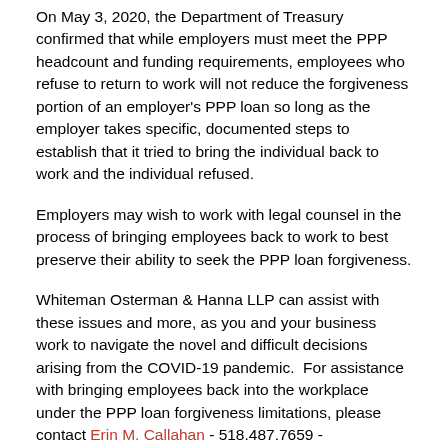On May 3, 2020, the Department of Treasury confirmed that while employers must meet the PPP headcount and funding requirements, employees who refuse to return to work will not reduce the forgiveness portion of an employer's PPP loan so long as the employer takes specific, documented steps to establish that it tried to bring the individual back to work and the individual refused.
Employers may wish to work with legal counsel in the process of bringing employees back to work to best preserve their ability to seek the PPP loan forgiveness.
Whiteman Osterman & Hanna LLP can assist with these issues and more, as you and your business work to navigate the novel and difficult decisions arising from the COVID-19 pandemic.  For assistance with bringing employees back into the workplace under the PPP loan forgiveness limitations, please contact Erin M. Callahan - 518.487.7659 - ECallahan@woh.com, Scott D. Shimick - 518.487.7678 - SShimick@woh.com, or any of the other members of